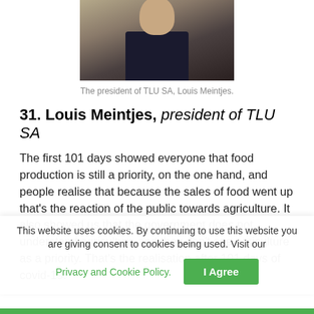[Figure (photo): Photo of Louis Meintjes, president of TLU SA, a man in a dark suit]
The president of TLU SA, Louis Meintjes.
31. Louis Meintjes, president of TLU SA
The first 101 days showed everyone that food production is still a priority, on the one hand, and people realise that because the sales of food went up that's the reaction of the public towards agriculture. It also showed us that the government does not understand agriculture and they don't see agriculture as a priority. That's the realisation after 101 days of covid-19.
This website uses cookies. By continuing to use this website you are giving consent to cookies being used. Visit our Privacy and Cookie Policy.